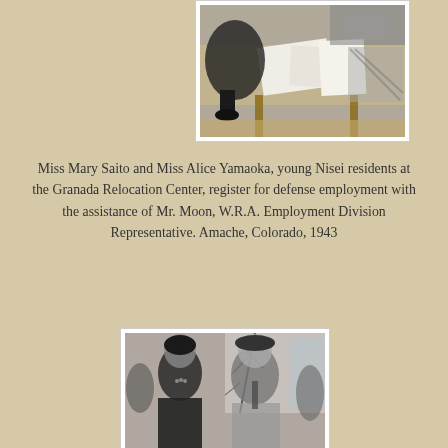[Figure (photo): Black and white photograph taken from above showing people at a table with papers and books, registering for employment.]
Miss Mary Saito and Miss Alice Yamaoka, young Nisei residents at the Granada Relocation Center, register for defense employment with the assistance of Mr. Moon, W.R.A. Employment Division Representative. Amache, Colorado, 1943
[Figure (photo): Black and white photograph of a woman and man standing indoors, looking at a bare branch or small tree. The man wears a cardigan and cap; the woman wears a dark dress.]